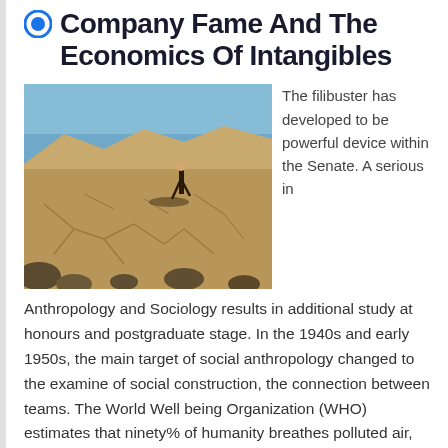Company Fame And The Economics Of Intangibles
[Figure (photo): A person walking across a cracked desert landscape with sand dunes in the background under a blue sky.]
The filibuster has developed to be powerful device within the Senate. A serious in Anthropology and Sociology results in additional study at honours and postgraduate stage. In the 1940s and early 1950s, the main target of social anthropology changed to the examine of social construction, the connection between teams. The World Well being Organization (WHO) estimates that ninety% of humanity breathes polluted air, so is looking for a reduction in air pollution to cut rates of respiratory diseases, thus stopping seven million deaths a year.